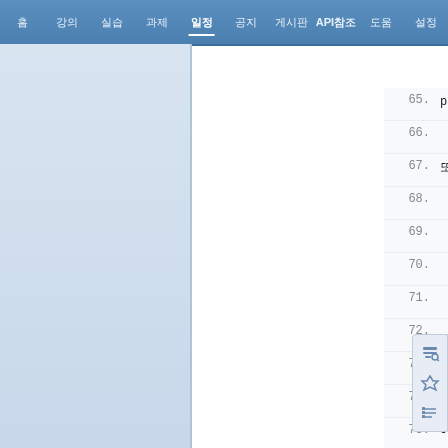홈 | 강의 | 실습 | 과제 | 일정 | 공지 | 게시판 | API참조 | 도움 | 설정
65. ps에서 각 사운드의 식별자:각 사운드파일명으로 ID
66.
67. 또 사용자EXE파일을 만들때는
68. 비주얼베이직프로젝트에서EXE파일을 만들기전에
69. 메뉴의 VB6.0의 "프로젝트→속성의프로젝트이름"을
70. 위의 VB 이미만들어져있는것의 "프로젝트이름"을
71. 리소스명 "WAVE"
72. 리소스번호 102
73. 주석 리소스코드
74. 사운드리소스파일코드
75. Option Explicit
76. Private Declare Function
77. Private Declare Function (lpszSoundName As Any, B
78. Public Const SND_ASYNC = &H1&
79. Public Const SND_MEMORY = &H4&
80. Private Sub Command5_Click() D
81. Dim bArr() As Byte
82. bArr = LoadResData(102, "WAVE